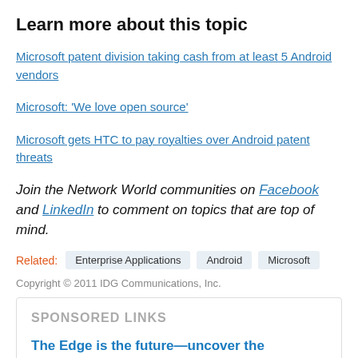Learn more about this topic
Microsoft patent division taking cash from at least 5 Android vendors
Microsoft: 'We love open source'
Microsoft gets HTC to pay royalties over Android patent threats
Join the Network World communities on Facebook and LinkedIn to comment on topics that are top of mind.
Related: Enterprise Applications   Android   Microsoft
Copyright © 2011 IDG Communications, Inc.
SPONSORED LINKS
The Edge is the future—uncover the components of Edge success today and achieve your goal in becoming a modern, digital-first, and data-driven enterprise.